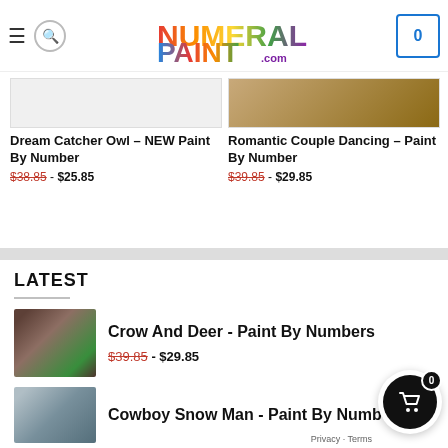NumiralPaint.com — navigation header with logo, hamburger, search icon, and cart showing 0
[Figure (screenshot): Product image placeholder for Dream Catcher Owl]
Dream Catcher Owl – NEW Paint By Number
$38.85 - $25.85
[Figure (screenshot): Product image placeholder for Romantic Couple Dancing]
Romantic Couple Dancing – Paint By Number
$39.85 - $29.85
LATEST
[Figure (photo): Thumbnail of crow sitting on deer's head in nature setting]
Crow And Deer - Paint By Numbers
$39.85 - $29.85
[Figure (photo): Thumbnail of Cowboy Snow Man painting]
Cowboy Snow Man - Paint By Numbers